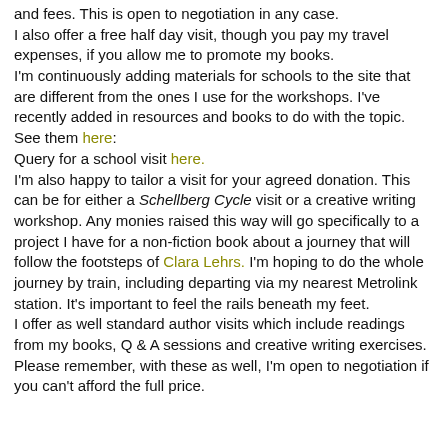and fees. This is open to negotiation in any case. I also offer a free half day visit, though you pay my travel expenses, if you allow me to promote my books. I'm continuously adding materials for schools to the site that are different from the ones I use for the workshops. I've recently added in resources and books to do with the topic. See them here: Query for a school visit here. I'm also happy to tailor a visit for your agreed donation. This can be for either a Schellberg Cycle visit or a creative writing workshop. Any monies raised this way will go specifically to a project I have for a non-fiction book about a journey that will follow the footsteps of Clara Lehrs. I'm hoping to do the whole journey by train, including departing via my nearest Metrolink station. It's important to feel the rails beneath my feet. I offer as well standard author visits which include readings from my books, Q & A sessions and creative writing exercises. Please remember, with these as well, I'm open to negotiation if you can't afford the full price.